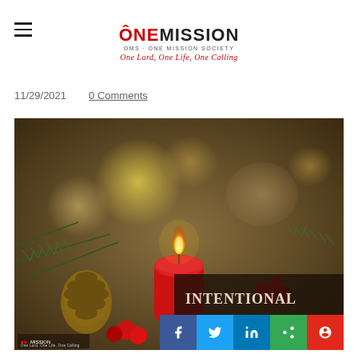ONEMISSION | OMS - ONE MISSION SOCIETY | One Lord, One Life, One Calling
11/29/2021   0 Comments
[Figure (photo): An Advent candle scene with a lit red candle surrounded by pine branches, pine cones, and red berries against a bokeh background. In the lower right of the image, text reads INTENTIONAL PREPARATION. The OMS/One Mission logo appears in the bottom left corner of the image.]